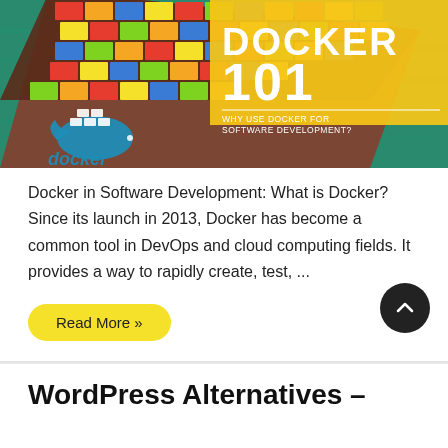[Figure (photo): Aerial photo of a cargo ship loaded with colorful shipping containers on teal ocean water. Overlaid in the upper-right is a yellow rectangle with bold white text 'DOCKER 101' and subtitle 'WHY USE DOCKER FOR SOFTWARE DEVELOPMENT?'. In the lower-left is the blue Docker whale logo and the word 'docker' in blue.]
Docker in Software Development: What is Docker? Since its launch in 2013, Docker has become a common tool in DevOps and cloud computing fields. It provides a way to rapidly create, test, ...
Read More »
WordPress Alternatives –